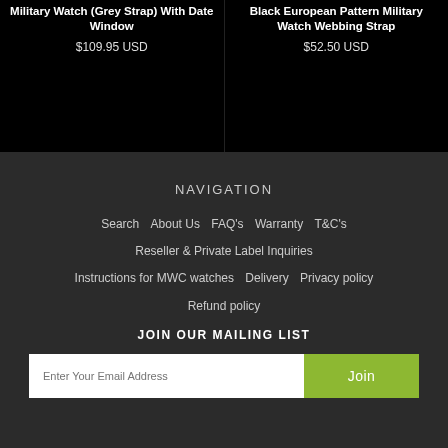Military Watch (Grey Strap) With Date Window
$109.95 USD
Black European Pattern Military Watch Webbing Strap
$52.50 USD
NAVIGATION
Search
About Us
FAQ's
Warranty
T&C's
Reseller & Private Label Inquiries
Instructions for MWC watches
Delivery
Privacy policy
Refund policy
JOIN OUR MAILING LIST
Enter Your Email Address
Join